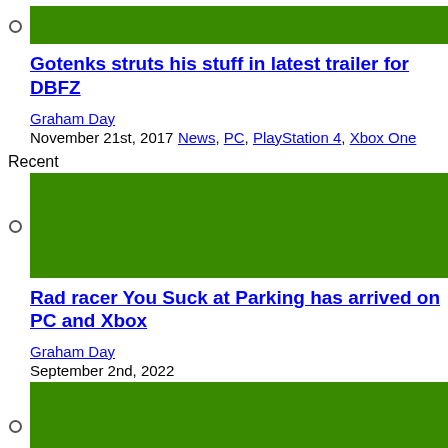[Figure (illustration): Green banner image placeholder at top of first article]
Gotenks struts his stuff in latest trailer for DBFZ
Graham Day
November 21st, 2017
News, PC, PlayStation 4, Xbox One
Recent
[Figure (illustration): Green banner image placeholder for second article]
Rad racer You Suck at Parking has arrived on PC and Xbox
Graham Day
September 2nd, 2022
[Figure (illustration): Green banner image placeholder at bottom of page]